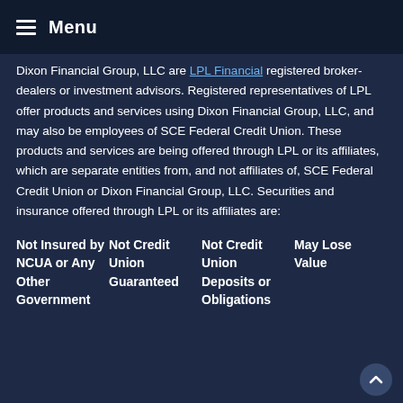Menu
Dixon Financial Group, LLC are LPL Financial registered broker-dealers or investment advisors. Registered representatives of LPL offer products and services using Dixon Financial Group, LLC, and may also be employees of SCE Federal Credit Union. These products and services are being offered through LPL or its affiliates, which are separate entities from, and not affiliates of, SCE Federal Credit Union or Dixon Financial Group, LLC. Securities and insurance offered through LPL or its affiliates are:
| Not Insured by NCUA or Any Other Government | Not Credit Union Guaranteed | Not Credit Union Deposits or Obligations | May Lose Value |
| --- | --- | --- | --- |